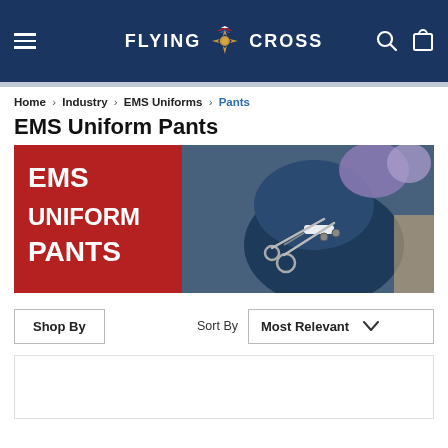[Figure (screenshot): Flying Cross navigation bar with hamburger menu, logo, search and cart icons on dark navy background]
Home > Industry > EMS Uniforms > Pants
EMS Uniform Pants
[Figure (photo): EMS Uniform Pants hero banner with red panel showing EMS UNIFORM PANTS text and photo of EMS worker with scissors]
Shop By  |  Sort By  Most Relevant